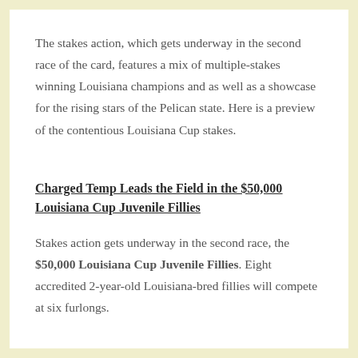The stakes action, which gets underway in the second race of the card, features a mix of multiple-stakes winning Louisiana champions and as well as a showcase for the rising stars of the Pelican state. Here is a preview of the contentious Louisiana Cup stakes.
Charged Temp Leads the Field in the $50,000 Louisiana Cup Juvenile Fillies
Stakes action gets underway in the second race, the $50,000 Louisiana Cup Juvenile Fillies. Eight accredited 2-year-old Louisiana-bred fillies will compete at six furlongs.